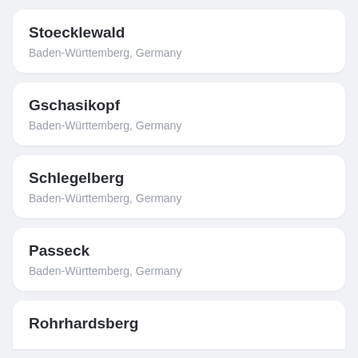Stoecklewald
Baden-Württemberg, Germany
Gschasikopf
Baden-Württemberg, Germany
Schlegelberg
Baden-Württemberg, Germany
Passeck
Baden-Württemberg, Germany
Rohrhardsberg